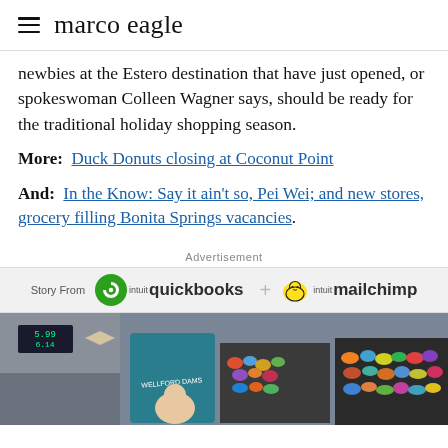marco eagle
newbies at the Estero destination that have just opened, or spokeswoman Colleen Wagner says, should be ready for the traditional holiday shopping season.
More: Duck Donuts closing at Coconut Point
And: In the Know: Say it ain't so, Pei Wei; and new stores, grocery filling Bonita Springs vacancies.
Advertisement
[Figure (other): Advertisement banner: Story From quickbooks + mailchimp (Intuit branded)]
[Figure (photo): Photo strip showing a person with colorful items in bins at what appears to be a retail or market setting]